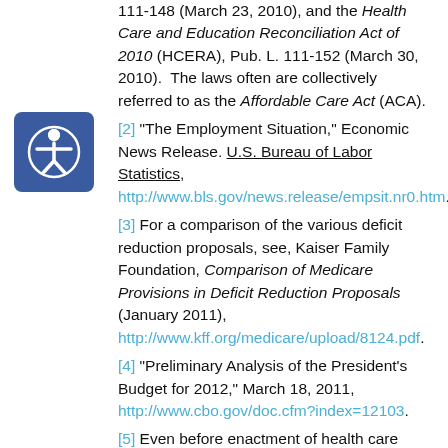111-148 (March 23, 2010), and the Health Care and Education Reconciliation Act of 2010 (HCERA), Pub. L. 111-152 (March 30, 2010). The laws often are collectively referred to as the Affordable Care Act (ACA).
[2] "The Employment Situation," Economic News Release. U.S. Bureau of Labor Statistics, http://www.bls.gov/news.release/empsit.nr0.htm.
[3] For a comparison of the various deficit reduction proposals, see, Kaiser Family Foundation, Comparison of Medicare Provisions in Deficit Reduction Proposals (January 2011), http://www.kff.org/medicare/upload/8124.pdf.
[4] "Preliminary Analysis of the President's Budget for 2012," March 18, 2011, http://www.cbo.gov/doc.cfm?index=12103.
[5] Even before enactment of health care...